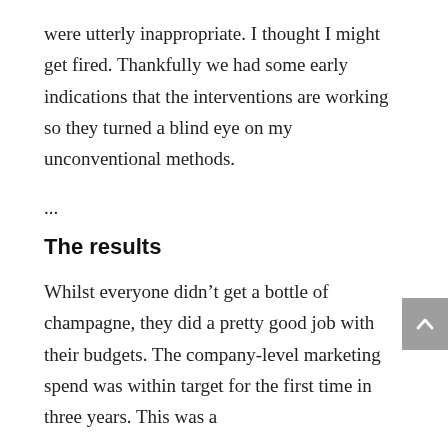were utterly inappropriate. I thought I might get fired. Thankfully we had some early indications that the interventions are working so they turned a blind eye on my unconventional methods.
...
The results
Whilst everyone didn’t get a bottle of champagne, they did a pretty good job with their budgets. The company-level marketing spend was within target for the first time in three years. This was a